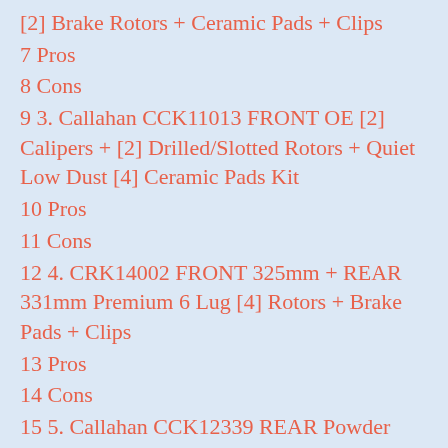[2] Brake Rotors + Ceramic Pads + Clips
7 Pros
8 Cons
9 3. Callahan CCK11013 FRONT OE [2] Calipers + [2] Drilled/Slotted Rotors + Quiet Low Dust [4] Ceramic Pads Kit
10 Pros
11 Cons
12 4. CRK14002 FRONT 325mm + REAR 331mm Premium 6 Lug [4] Rotors + Brake Pads + Clips
13 Pros
14 Cons
15 5. Callahan CCK12339 REAR Powder Coated Red [2] Calipers + [2] 8 Lug Rotors + Quiet Low